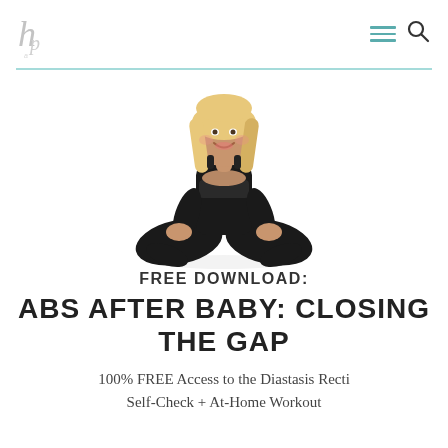[Logo] [Hamburger menu] [Search icon]
[Figure (photo): A smiling blonde woman in black athletic wear sitting cross-legged on a white background]
FREE DOWNLOAD: ABS AFTER BABY: CLOSING THE GAP
100% FREE Access to the Diastasis Recti Self-Check + At-Home Workout